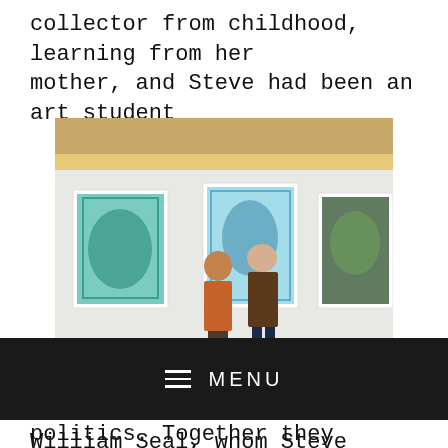collector from childhood, learning from her mother, and Steve had been an art student
[Figure (photo): Two people standing in an art gallery viewing three framed colorful artworks on a white wall with exposed brick ceiling above. The person on the left wears an orange top, the person on the right wears a brown jacket.]
before pursuing a career in politics. Together they
continued building a contemporary art collection
MENU
William Seal, whom Steve describes as "a force in